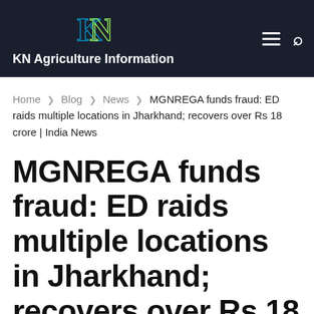KN Agriculture Information
Home > Blog > News > MGNREGA funds fraud: ED raids multiple locations in Jharkhand; recovers over Rs 18 crore | India News
MGNREGA funds fraud: ED raids multiple locations in Jharkhand; recovers over Rs 18 crore |